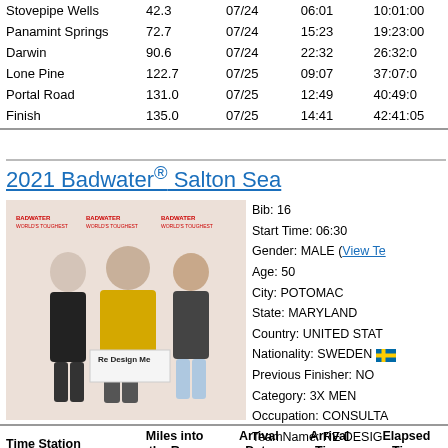| Time Station | Miles into the Race | Arrival Date | Arrival Time | Elapsed Time |
| --- | --- | --- | --- | --- |
| Stovepipe Wells | 42.3 | 07/24 | 06:01 | 10:01:00 |
| Panamint Springs | 72.7 | 07/24 | 15:23 | 19:23:00 |
| Darwin | 90.6 | 07/24 | 22:32 | 26:32:0 |
| Lone Pine | 122.7 | 07/25 | 09:07 | 37:07:0 |
| Portal Road | 131.0 | 07/25 | 12:49 | 40:49:0 |
| Finish | 135.0 | 07/25 | 14:41 | 42:41:05 |
2021 Badwater® Salton Sea
[Figure (photo): Three men standing in front of a Badwater branded backdrop. Left: tall man in black shirt. Center: man with long hair in yellow long-sleeve shirt holding a sign reading 'Re Design Me'. Right: man in dark shirt and light blue shorts.]
Bib: 16
Start Time: 06:30
Gender: MALE (View Te
Age: 50
City: POTOMAC
State: MARYLAND
Country: UNITED STAT
Nationality: SWEDEN
Previous Finisher: NO
Category: 3X MEN
Occupation: CONSULTA
TeamName: RE DESIG
| Time Station | Miles into
the Race | Arrival
Date | Arrival
Time | Elapsed
Time |
| --- | --- | --- | --- | --- |